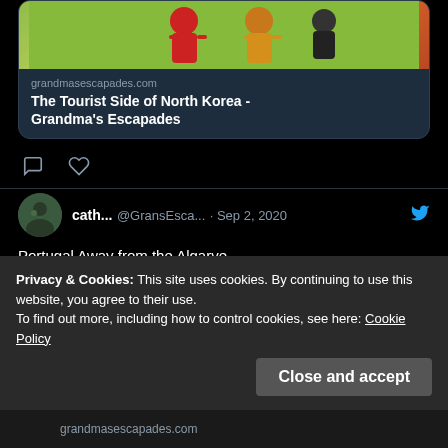[Figure (screenshot): Link preview card for 'The Tourist Side of North Korea - Grandma's Escapades' on grandmasescapades.com, showing an illustration of colorful figures at the top, with domain and title text below, on a dark Twitter-style background.]
grandmasescapades.com
The Tourist Side of North Korea - Grandma's Escapades
cath... @GransEsca... · Sep 2, 2020
Portugal Away from the Algarve
grandmasescapades.com/portugal-away- ...
[Figure (photo): Decorative tile pattern image showing blue, brown, and white swirling azulejo-style Portuguese tiles.]
Privacy & Cookies: This site uses cookies. By continuing to use this website, you agree to their use.
To find out more, including how to control cookies, see here: Cookie Policy
Close and accept
grandmasescapades.com